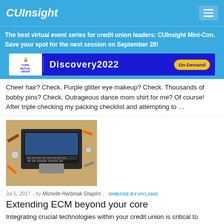CUInsight
The best virtual event series for credit union leaders: CUInsight Mini-Con. Save your spot for the next session on September 28!
[Figure (other): CUNA Mutual Group Discovery2022 On-Demand advertisement banner]
Cheer hair? Check. Purple glitter eye makeup? Check. Thousands of bobby pins? Check. Outrageous dance mom shirt for me? Of course! After triple checking my packing checklist and attempting to …
[Figure (photo): Top-down view of a laptop surrounded by various tools on a wooden surface]
Jul 5, 2017 - by Michelle Harbinak Shapiro, ONBASE BY HYLAND
Extending ECM beyond your core
Integrating crucial technologies within your credit union is critical to